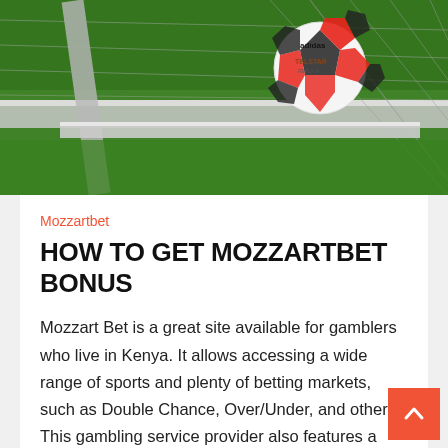[Figure (photo): Close-up of an Adidas Telstar football (soccer ball) resting on the corner of a goal post, with green grass background and goal netting visible.]
Mozzartbet
HOW TO GET MOZZARTBET BONUS
Mozzart Bet is a great site available for gamblers who live in Kenya. It allows accessing a wide range of sports and plenty of betting markets, such as Double Chance, Over/Under, and others. This gambling service provider also features a large collection of casino games